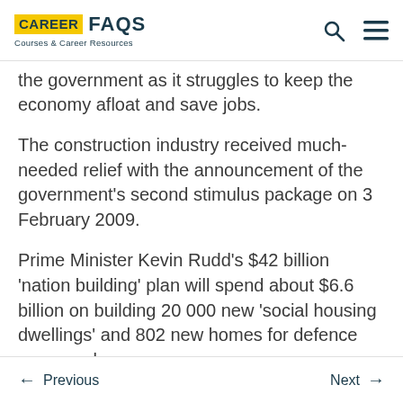CAREER FAQS — Courses & Career Resources
the government as it struggles to keep the economy afloat and save jobs.
The construction industry received much-needed relief with the announcement of the government's second stimulus package on 3 February 2009.
Prime Minister Kevin Rudd's $42 billion 'nation building' plan will spend about $6.6 billion on building 20 000 new 'social housing dwellings' and 802 new homes for defence personnel.
There will also be urgent maintenance to
← Previous    Next →